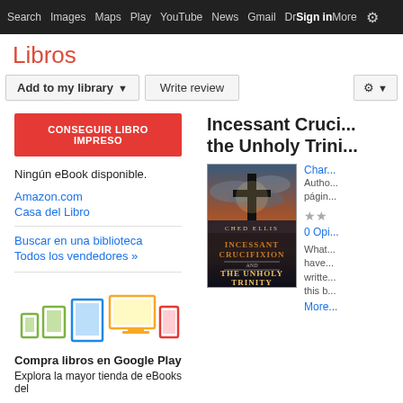Search  Images  Maps  Play  YouTube  News  Gmail  Drive  More  Sign in  [settings]
Libros
Add to my library ▼   Write review   [settings icon] ▼
CONSEGUIR LIBRO IMPRESO
Ningún eBook disponible.
Amazon.com
Casa del Libro
Buscar en una biblioteca
Todos los vendedores »
[Figure (illustration): Device icons: phone, tablet, e-reader, monitor/desktop, tablet in red - representing reading devices for Google Play Books]
Compra libros en Google Play
Explora la mayor tienda de eBooks del
Incessant Cruci... the Unholy Trini...
[Figure (photo): Book cover of 'Incessant Crucifixion and The Unholy Trinity' by Ched Ellis, showing a cross silhouette against a dramatic sunset sky]
Char...
Author, páginas
★★
0 Opi...
What... have... writte... this b...
More...